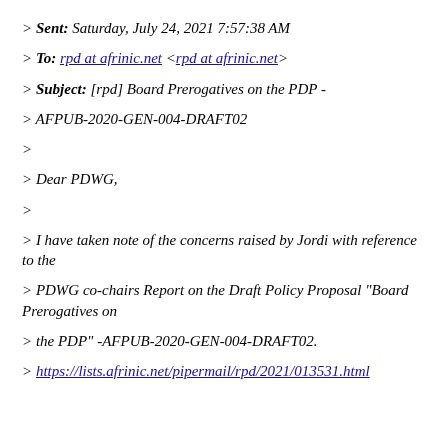> *Sent:* Saturday, July 24, 2021 7:57:38 AM
> *To:* rpd at afrinic.net <rpd at afrinic.net>
> *Subject:* [rpd] Board Prerogatives on the PDP -
> AFPUB-2020-GEN-004-DRAFT02
>
> Dear PDWG,
>
> I have taken note of the concerns raised by Jordi with reference to the
> PDWG co-chairs Report on the Draft Policy Proposal "Board Prerogatives on
> the PDP" -AFPUB-2020-GEN-004-DRAFT02.
> https://lists.afrinic.net/pipermail/rpd/2021/013531.html